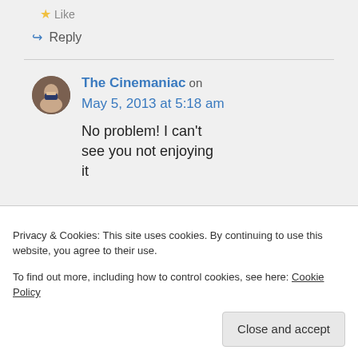★ Like
↪ Reply
The Cinemaniac on May 5, 2013 at 5:18 am
No problem! I can't see you not enjoying it
Privacy & Cookies: This site uses cookies. By continuing to use this website, you agree to their use.
To find out more, including how to control cookies, see here: Cookie Policy
Close and accept